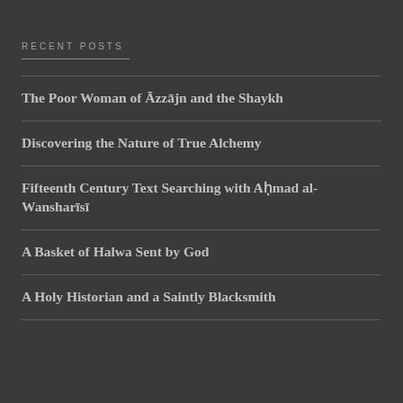RECENT POSTS
The Poor Woman of Āzzājn and the Shaykh
Discovering the Nature of True Alchemy
Fifteenth Century Text Searching with Aḥmad al-Wansharīsī
A Basket of Halwa Sent by God
A Holy Historian and a Saintly Blacksmith